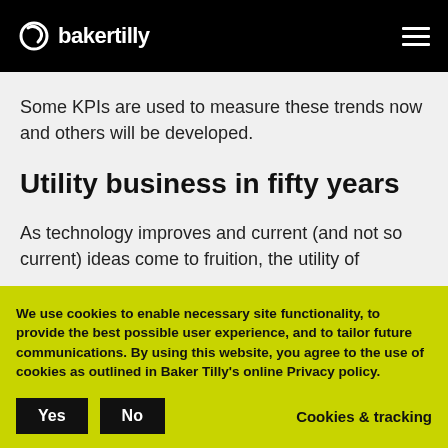bakertilly
Some KPIs are used to measure these trends now and others will be developed.
Utility business in fifty years
As technology improves and current (and not so current) ideas come to fruition, the utility of
We use cookies to enable necessary site functionality, to provide the best possible user experience, and to tailor future communications. By using this website, you agree to the use of cookies as outlined in Baker Tilly's online Privacy policy.
infrastructure and investments in infrastructure